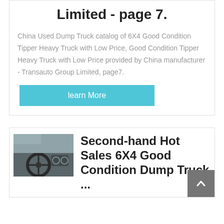Limited - page 7.
China Used Dump Truck catalog of 6X4 Good Condition Tipper Heavy Truck with Low Price, Good Condition Tipper Heavy Truck with Low Price provided by China manufacturer - Transauto Group Limited, page7.
learn More
[Figure (photo): Interior dashboard/steering wheel view of a truck cab]
Second-hand Hot Sales 6X4 Good Condition Dump Truck ...